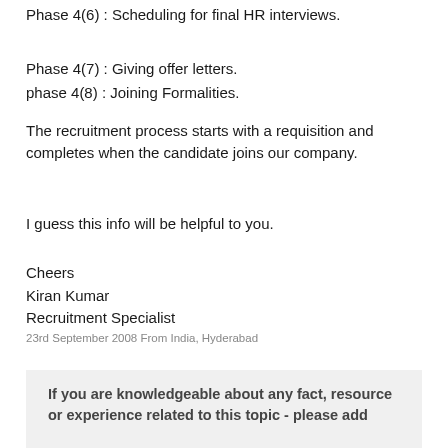Phase 4(6) : Scheduling for final HR interviews.
Phase 4(7) : Giving offer letters.
phase 4(8) : Joining Formalities.
The recruitment process starts with a requisition and completes when the candidate joins our company.
I guess this info will be helpful to you.
Cheers
Kiran Kumar
Recruitment Specialist
23rd September 2008 From India, Hyderabad
If you are knowledgeable about any fact, resource or experience related to this topic - please add